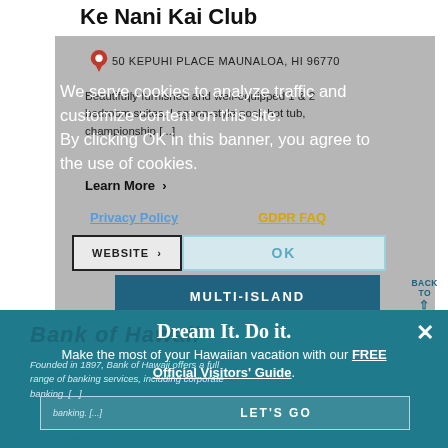Ke Nani Kai Club
50 KEPUHI PLACE MAUNALOA, HI 96770
Beautifully furnished and well-equipped 1 & 2 bedroom suites. Lagoon-style pool, hot tub, championship [...]
We serve cookies to analyze traffic and customize content on this site. By clicking OK in this banner, you agree to the use of cookies.
Learn More ›
Privacy Policy    GDPR FAQ
WEBSITE ›
OK
MULTI-ISLAND
BACK TO
Bank of Hawaii
Dream It. Do it.
Make the most of your Hawaiian vacation with our FREE Official Visitors' Guide.
Founded in 1897, Bank of Hawaii offers a full range of banking services, including corporate banking. [...]
banking. [...] LET'S GO
Learn More ›